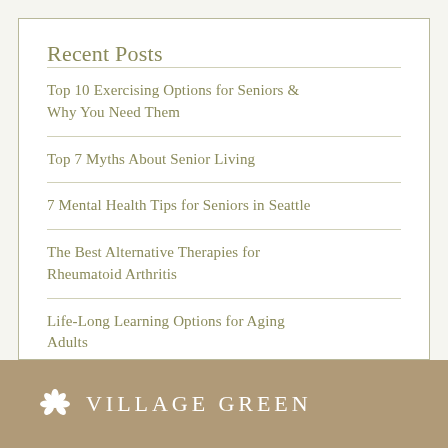Recent Posts
Top 10 Exercising Options for Seniors & Why You Need Them
Top 7 Myths About Senior Living
7 Mental Health Tips for Seniors in Seattle
The Best Alternative Therapies for Rheumatoid Arthritis
Life-Long Learning Options for Aging Adults
VILLAGE GREEN